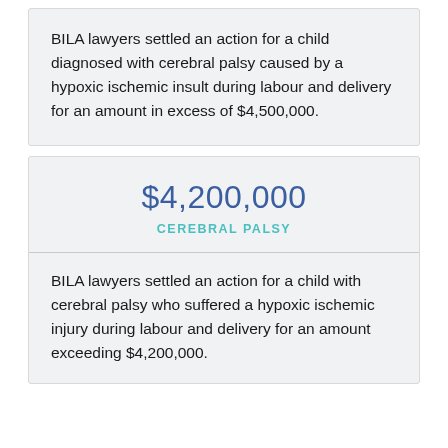BILA lawyers settled an action for a child diagnosed with cerebral palsy caused by a hypoxic ischemic insult during labour and delivery for an amount in excess of $4,500,000.
$4,200,000
CEREBRAL PALSY
BILA lawyers settled an action for a child with cerebral palsy who suffered a hypoxic ischemic injury during labour and delivery for an amount exceeding $4,200,000.